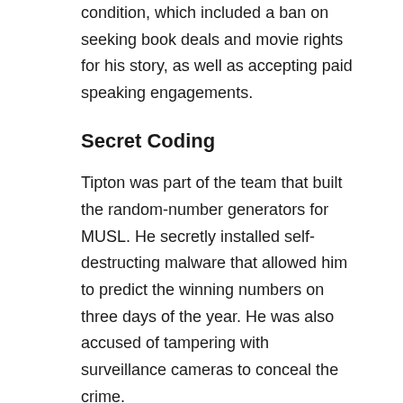condition, which included a ban on seeking book deals and movie rights for his story, as well as accepting paid speaking engagements.
Secret Coding
Tipton was part of the team that built the random-number generators for MUSL. He secretly installed self-destructing malware that allowed him to predict the winning numbers on three days of the year. He was also accused of tampering with surveillance cameras to conceal the crime.
The first known fraudulent claim occurred in Colorado, a $4.8 million jackpot on November 23, 2005. That prize had three winners. One was an associate of Tipton's brother, Tommy Tipton.
Tommy Tipton was a magistrate judge in Fayette County, Texas, and enthusiastic bigfoot hunter.